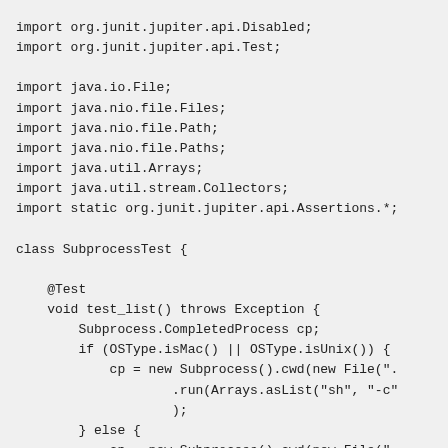import org.junit.jupiter.api.Disabled;
import org.junit.jupiter.api.Test;

import java.io.File;
import java.nio.file.Files;
import java.nio.file.Path;
import java.nio.file.Paths;
import java.util.Arrays;
import java.util.stream.Collectors;
import static org.junit.jupiter.api.Assertions.*;

class SubprocessTest {

    @Test
    void test_list() throws Exception {
        Subprocess.CompletedProcess cp;
        if (OSType.isMac() || OSType.isUnix()) {
            cp = new Subprocess().cwd(new File(".
                    .run(Arrays.asList("sh", "-c"
                    );
        } else {
            cp = new Subprocess().cwd(new File(".
                    .run(Arrays.asList("cmd", "/c"